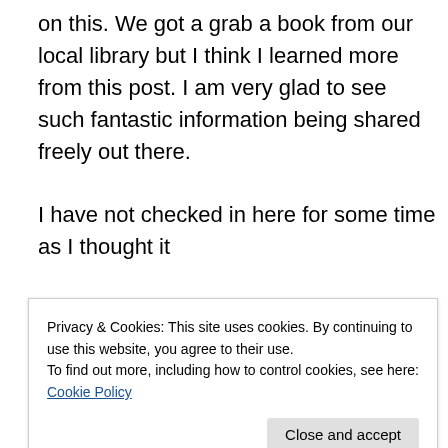on this. We got a grab a book from our local library but I think I learned more from this post. I am very glad to see such fantastic information being shared freely out there.

I have not checked in here for some time as I thought it

was getting boring, but the last few posts are great quality so I guess I will add you back to my everyday bloglist.

You deserve it friend 🙂
Privacy & Cookies: This site uses cookies. By continuing to use this website, you agree to their use.
To find out more, including how to control cookies, see here: Cookie Policy
Hello, you used to write great, but the last few